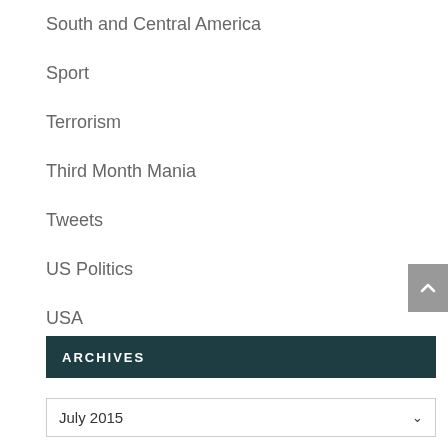South and Central America
Sport
Terrorism
Third Month Mania
Tweets
US Politics
USA
Winners and Worries
Women
ARCHIVES
July 2015